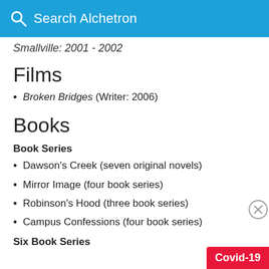Search Alchetron
Smallville: 2001 - 2002
Films
Broken Bridges (Writer: 2006)
Books
Book Series
Dawson's Creek (seven original novels)
Mirror Image (four book series)
Robinson's Hood (three book series)
Campus Confessions (four book series)
Six Book Series
Covid-19